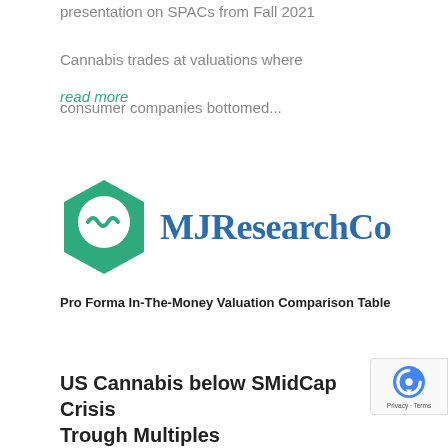presentation on SPACs from Fall 2021
Cannabis trades at valuations where consumer companies bottomed...
read more
[Figure (logo): MJResearchCo logo: teal hexagon with white chat bubble and tilde/wave symbol, followed by 'MJResearchCo' in blue serif text]
Pro Forma In-The-Money Valuation Comparison Table
US Cannabis below SMidCap Crisis Trough Multiples